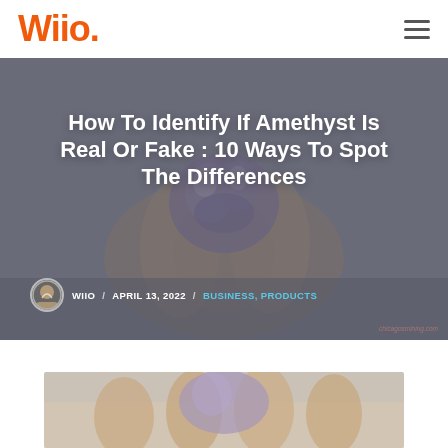Wiio.
[Figure (photo): Hands holding a purple amethyst crystal cluster against a grey background, used as hero image for article about identifying real vs fake amethyst]
How To Identify If Amethyst Is Real Or Fake : 10 Ways To Spot The Differences
WIIO / APRIL 13, 2022 / BUSINESS, PRODUCTS
[Figure (photo): Partial view of hands holding a crystal or gem, shown at the bottom of the page as a second article image]